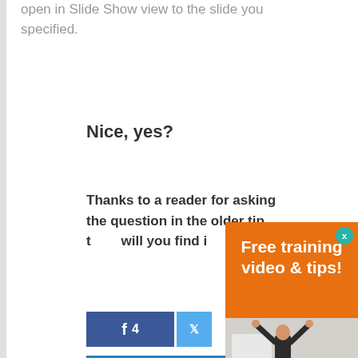open in Slide Show view to the slide you specified.
Nice, yes?
Thanks to a reader for asking the question in the older tip t... will you find i...
[Figure (screenshot): Facebook share button with count of 4 and a Twitter share button]
[Figure (screenshot): READ LATER blue button]
[Figure (infographic): Orange popup modal with text 'Free training video & tips!' and a close X button in teal, with a photo of a woman instructor with raised hands audience below]